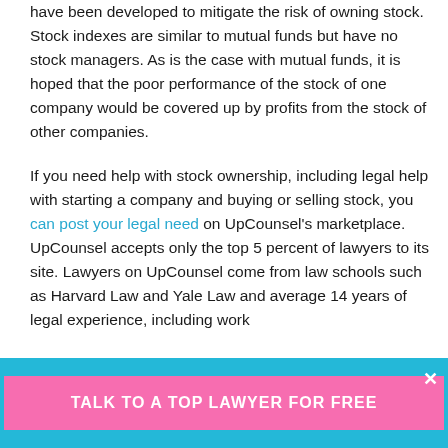have been developed to mitigate the risk of owning stock. Stock indexes are similar to mutual funds but have no stock managers. As is the case with mutual funds, it is hoped that the poor performance of the stock of one company would be covered up by profits from the stock of other companies.
If you need help with stock ownership, including legal help with starting a company and buying or selling stock, you can post your legal need on UpCounsel's marketplace. UpCounsel accepts only the top 5 percent of lawyers to its site. Lawyers on UpCounsel come from law schools such as Harvard Law and Yale Law and average 14 years of legal experience, including work
TALK TO A TOP LAWYER FOR FREE